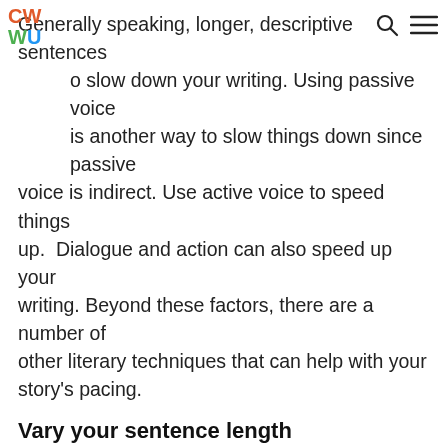CW WU [logo]
Generally speaking, longer, descriptive sentences to slow down your writing. Using passive voice is another way to slow things down since passive voice is indirect. Use active voice to speed things up. Dialogue and action can also speed up your writing. Beyond these factors, there are a number of other literary techniques that can help with your story's pacing.
Vary your sentence length
Ever read a sentence so long that, by the end of it, you don't even remember how the sentence started? Long, meandering sentences can confuse readers and make your writing unclear. Sometimes it's a good idea to break up long sentences for